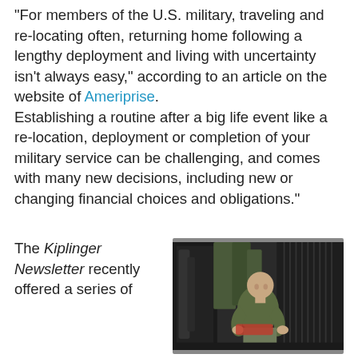“For members of the U.S. military, traveling and re-locating often, returning home following a lengthy deployment and living with uncertainty isn’t always easy,” according to an article on the website of Ameriprise. Establishing a routine after a big life event like a re-location, deployment or completion of your military service can be challenging, and comes with many new decisions, including new or changing financial choices and obligations.”
The Kiplinger Newsletter recently offered a series of
[Figure (photo): A bald military serviceman in olive green long-sleeve shirt and camouflage pants, sitting among military gear and rifles in what appears to be a transport aircraft or armory, working with equipment in his hands.]